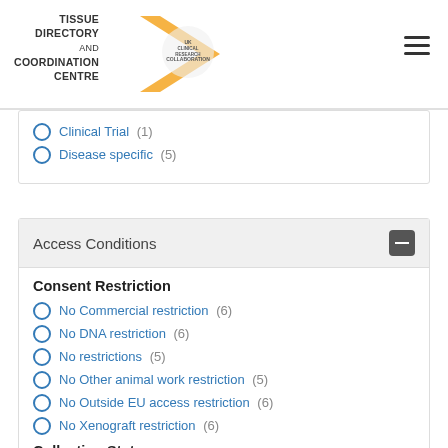Tissue Directory and Coordination Centre
Clinical Trial (1)
Disease specific (5)
Access Conditions
Consent Restriction
No Commercial restriction (6)
No DNA restriction (6)
No restrictions (5)
No Other animal work restriction (5)
No Outside EU access restriction (6)
No Xenograft restriction (6)
Collection Status